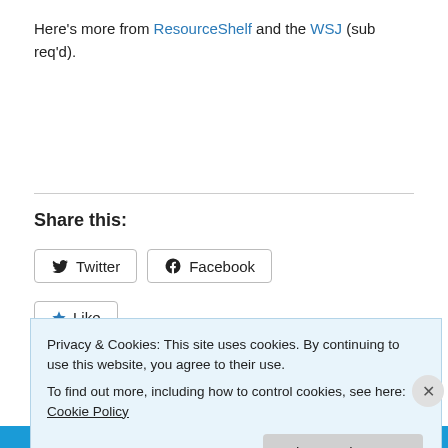Here's more from ResourceShelf and the WSJ (sub req'd).
Share this:
Twitter  Facebook
Like
Privacy & Cookies: This site uses cookies. By continuing to use this website, you agree to their use.
To find out more, including how to control cookies, see here: Cookie Policy
Close and accept